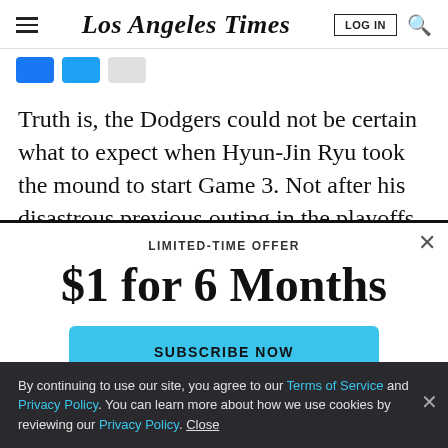Los Angeles Times
Truth is, the Dodgers could not be certain what to expect when Hyun-Jin Ryu took the mound to start Game 3. Not after his disastrous previous outing in the playoffs, and then there was the concern he was hiding
LIMITED-TIME OFFER
$1 for 6 Months
SUBSCRIBE NOW
By continuing to use our site, you agree to our Terms of Service and Privacy Policy. You can learn more about how we use cookies by reviewing our Privacy Policy. Close